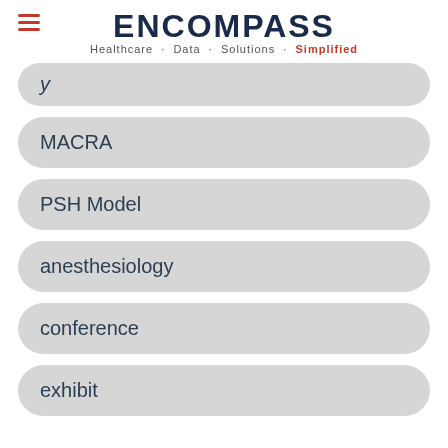ENCOMPASS Healthcare · Data · Solutions · Simplified
y
MACRA
PSH Model
anesthesiology
conference
exhibit